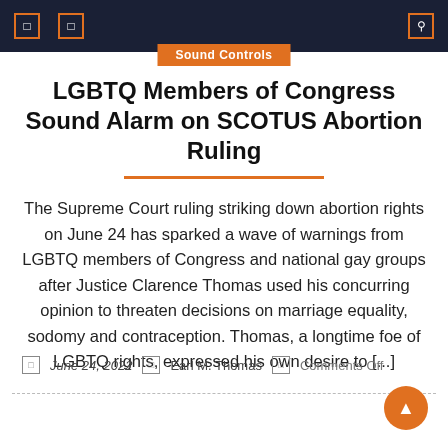Sound Controls
LGBTQ Members of Congress Sound Alarm on SCOTUS Abortion Ruling
The Supreme Court ruling striking down abortion rights on June 24 has sparked a wave of warnings from LGBTQ members of Congress and national gay groups after Justice Clarence Thomas used his concurring opinion to threaten decisions on marriage equality, sodomy and contraception. Thomas, a longtime foe of LGBTQ rights, expressed his own desire to [...]
June 24, 2022  Earl M. Thomas  Comments Off